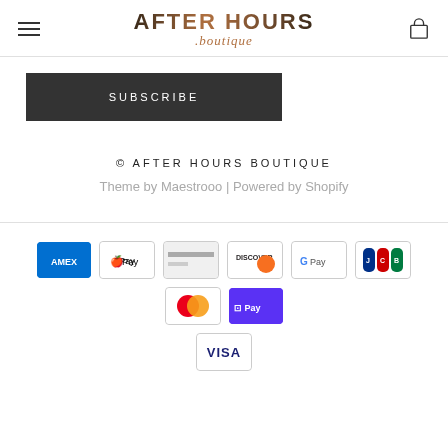AFTER HOURS .boutique
SUBSCRIBE
© AFTER HOURS BOUTIQUE
Theme by Maestrooo | Powered by Shopify
[Figure (logo): Payment method icons: American Express, Apple Pay, Generic Card, Discover, Google Pay, JCB, Mastercard, Shop Pay, Visa]